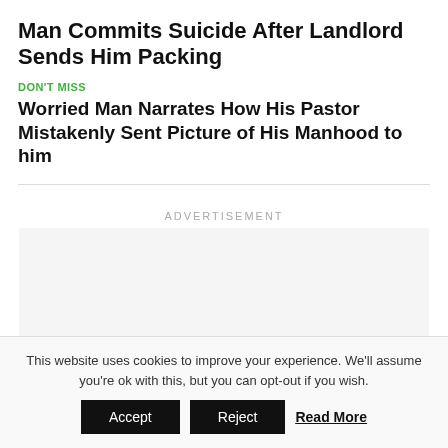Man Commits Suicide After Landlord Sends Him Packing
DON'T MISS
Worried Man Narrates How His Pastor Mistakenly Sent Picture of His Manhood to him
ADVERTISEMENT
This website uses cookies to improve your experience. We'll assume you're ok with this, but you can opt-out if you wish.
Accept  Reject  Read More